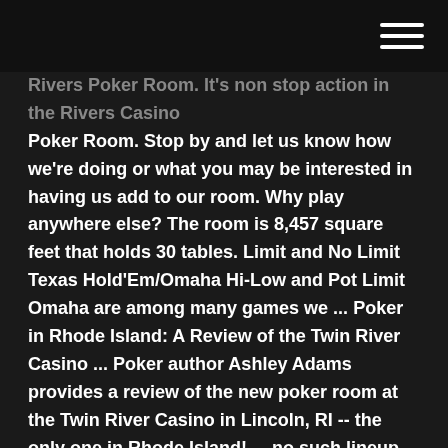[hamburger menu icon]
Rivers Poker Room. It's non stop action in the Rivers Casino Poker Room. Stop by and let us know how we're doing or what you may be interested in having us add to our room. Why play anywhere else? The room is 8,457 square feet that holds 30 tables. Limit and No Limit Texas Hold'Em/Omaha Hi-Low and Pot Limit Omaha are among many games we ... Poker in Rhode Island: A Review of the Twin River Casino ... Poker author Ashley Adams provides a review of the new poker room at the Twin River Casino in Lincoln, RI -- the only one in Rhode Island! ... no such lineup at the Twin River ... $1/$2 no-limit ... Twin River Casino - poker club in Lincoln | Games, Adress ... Twin River Casino - Poker club in Lincoln, description, cash games and live tournaments schedule. Find your poker game at